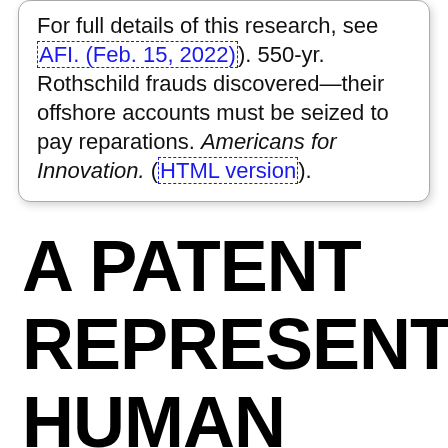For full details of this research, see AFI. (Feb. 15, 2022). 550-yr. Rothschild frauds discovered—their offshore accounts must be seized to pay reparations. Americans for Innovation. (HTML version).
A PATENT REPRESENTS HUMAN WILL-POWER AND